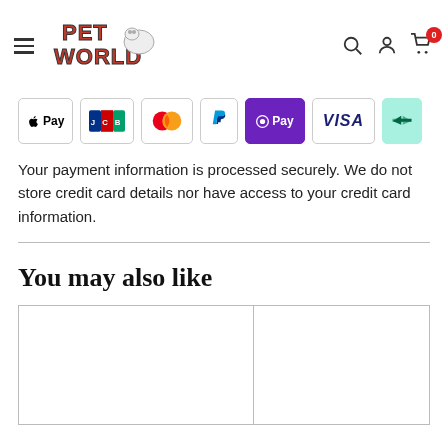Pet World — navigation header with logo, search, account, and cart icons
[Figure (infographic): Payment method icons: Apple Pay, JCB, Mastercard, PayPal, OPay, Visa, Transfer]
Your payment information is processed securely. We do not store credit card details nor have access to your credit card information.
You may also like
[Figure (other): Two product image placeholders in a grid layout]